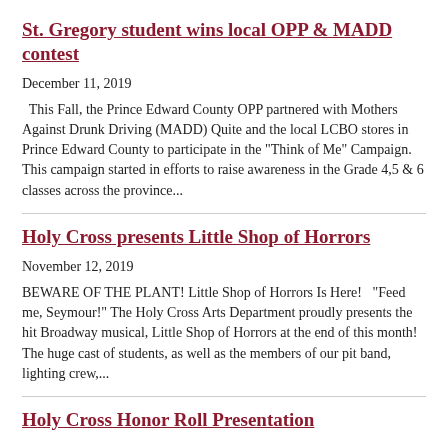St. Gregory student wins local OPP & MADD contest
December 11, 2019
This Fall, the Prince Edward County OPP partnered with Mothers Against Drunk Driving (MADD) Quite and the local LCBO stores in Prince Edward County to participate in the "Think of Me" Campaign. This campaign started in efforts to raise awareness in the Grade 4,5 & 6 classes across the province...
Holy Cross presents Little Shop of Horrors
November 12, 2019
BEWARE OF THE PLANT! Little Shop of Horrors Is Here!  "Feed me, Seymour!" The Holy Cross Arts Department proudly presents the hit Broadway musical, Little Shop of Horrors at the end of this month! The huge cast of students, as well as the members of our pit band, lighting crew,...
Holy Cross Honor Roll Presentation